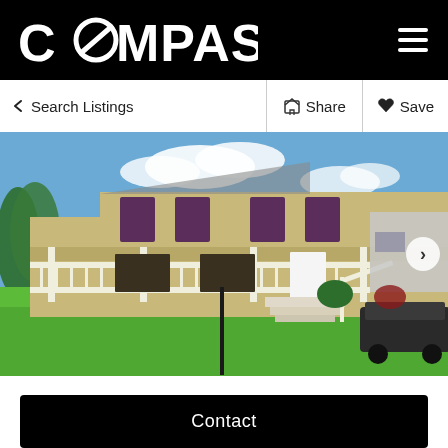COMPASS
< Search Listings
Share   Save
[Figure (photo): Two-story colonial-style house with beige/tan siding, dark purple shutters, white front porch with railing and steps, green lawn in foreground, neighboring house and parked SUV visible on right, blue sky with clouds.]
Contact